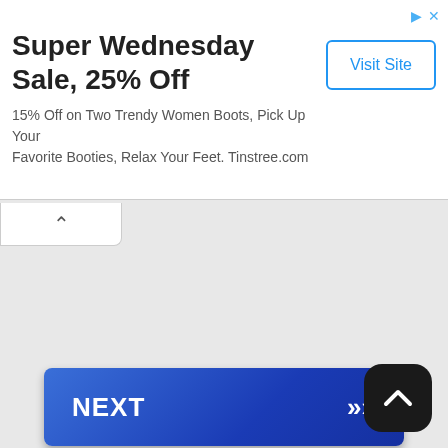Super Wednesday Sale, 25% Off
15% Off on Two Trendy Women Boots, Pick Up Your Favorite Booties, Relax Your Feet. Tinstree.com
Visit Site
[Figure (other): Chevron up arrow tab at top left of gray area]
[Figure (other): NEXT button with double chevron arrows, blue gradient, labeled 'on Newz Online']
[Figure (other): Black rounded square button with white chevron up arrow at bottom right]